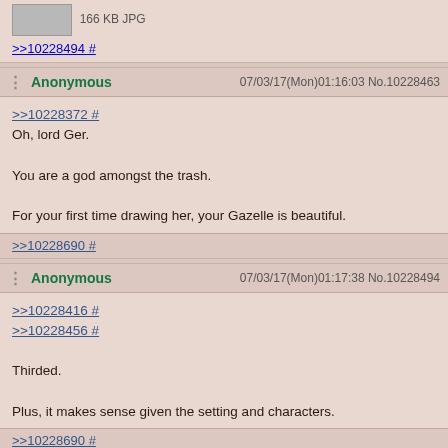[Figure (screenshot): Thumbnail image placeholder, 166 KB JPG]
166 KB JPG
>>10228494 #
Anonymous 07/03/17(Mon)01:16:03 No.10228463
>>10228372 #
Oh, lord Ger.

You are a god amongst the trash.

For your first time drawing her, your Gazelle is beautiful.
>>10228690 #
Anonymous 07/03/17(Mon)01:17:38 No.10228494
>>10228416 #
>>10228456 #

Thirded.

Plus, it makes sense given the setting and characters.
>>10228690 #
Anonymous 07/03/17(Mon)01:18:17 No.10228510